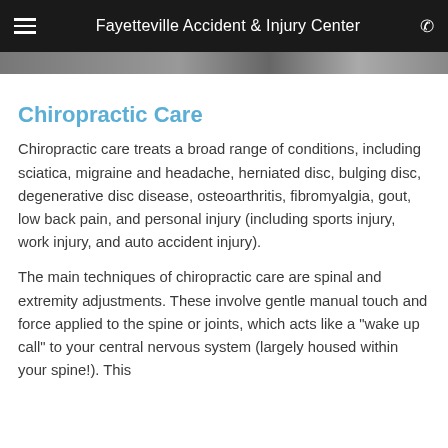Fayetteville Accident & Injury Center
[Figure (photo): Partial image strip showing a blurred/cropped photo at the top of the content area]
Chiropractic Care
Chiropractic care treats a broad range of conditions, including sciatica, migraine and headache, herniated disc, bulging disc, degenerative disc disease, osteoarthritis, fibromyalgia, gout, low back pain, and personal injury (including sports injury, work injury, and auto accident injury).
The main techniques of chiropractic care are spinal and extremity adjustments. These involve gentle manual touch and force applied to the spine or joints, which acts like a "wake up call" to your central nervous system (largely housed within your spine!). This